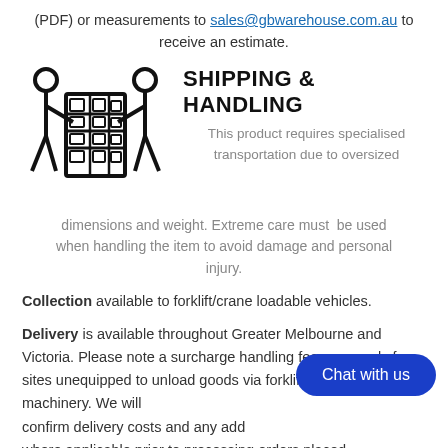(PDF) or measurements to sales@gbwarehouse.com.au to receive an estimate.
[Figure (illustration): Two people carrying a large shelving/racking unit between them, icon style black outline]
SHIPPING & HANDLING
This product requires specialised transportation due to oversized dimensions and weight. Extreme care must be used when handling the item to avoid damage and personal injury.
Collection available to forklift/crane loadable vehicles.
Delivery is available throughout Greater Melbourne and Victoria. Please note a surcharge handling fee may apply for sites unequipped to unload goods via forklift or other suitable machinery. We will confirm delivery costs and any additional charges where applicable prior to processing orders placed